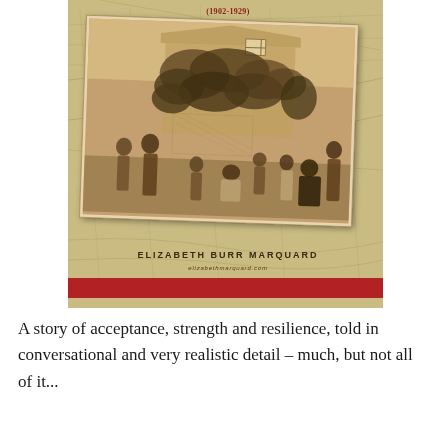[Figure (photo): Book cover showing a tilted sepia-toned vintage photograph of a family group standing in front of a house covered in climbing vines/ivy. Several adults and children are posed in the yard. The cover has a map background in gold/tan. Author name ELIZABETH BURR MARQUARD appears at the bottom of the cover. A red bar runs along the very bottom of the cover.]
A story of acceptance, strength and resilience, told in conversational and very realistic detail – much, but not all of it...